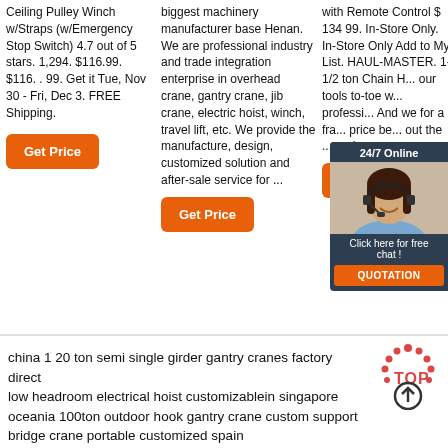Ceiling Pulley Winch w/Straps (w/Emergency Stop Switch) 4.7 out of 5 stars. 1,294. $116.99. $116. . 99. Get it Tue, Nov 30 - Fri, Dec 3. FREE Shipping.
biggest machinery manufacturer base Henan. We are professional industry and trade integration enterprise in overhead crane, gantry crane, jib crane, electric hoist, winch, travel lift, etc. We provide the manufacture, design, customized solution and after-sale service for ...
with Remote Control $ 134 99. In-Store Only. In-Store Only Add to My List. HAUL-MASTER. 1-1/2 ton Chain H... our tools to-toe w... professi... And we for a fra... price be... out the ... and ...
[Figure (illustration): Chat widget overlay showing a woman with headset, 24/7 Online label, Click here for free chat! text, and QUOTATION button]
china 1 20 ton semi single girder gantry cranes factory direct low headroom electrical hoist customizablein singapore oceania 100ton outdoor hook gantry crane custom support bridge crane portable customized spain